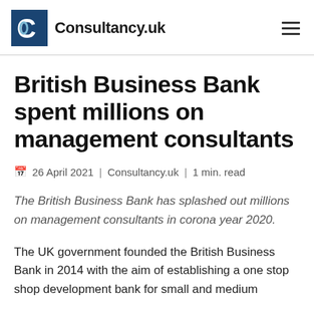Consultancy.uk
British Business Bank spent millions on management consultants
26 April 2021 | Consultancy.uk | 1 min. read
The British Business Bank has splashed out millions on management consultants in corona year 2020.
The UK government founded the British Business Bank in 2014 with the aim of establishing a one stop shop development bank for small and medium